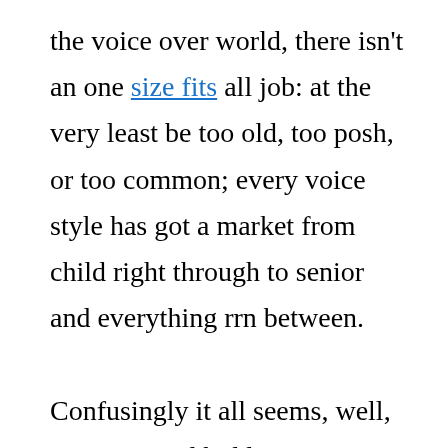the voice over world, there isn't an one size fits all job: at the very least be too old, too posh, or too common; every voice style has got a market from child right through to senior and everything rrn between.

Confusingly it all seems, well, so vague and hidden. It is as though ‘planet voice over’ were a remote place, impregnable, self contained and highbrow. However people (yes ordinary people) do become voice-over performers. These kind of are not necessarily